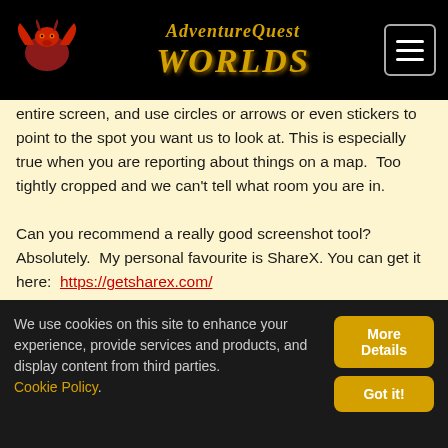[Figure (screenshot): AdventureQuest Worlds website header with logo (red dragon), site title in gold italic font, and hamburger menu icon on black background]
entire screen, and use circles or arrows or even stickers to point to the spot you want us to look at. This is especially true when you are reporting about things on a map.  Too tightly cropped and we can't tell what room you are in.

Can you recommend a really good screenshot tool? Absolutely.  My personal favourite is ShareX. You can get it here:  https://getsharex.com/
ShareX allows you to take the screenshot, edit it and
We use cookies on this site to enhance your experience, provide services and products, and display content from third parties. Cookie Policy.